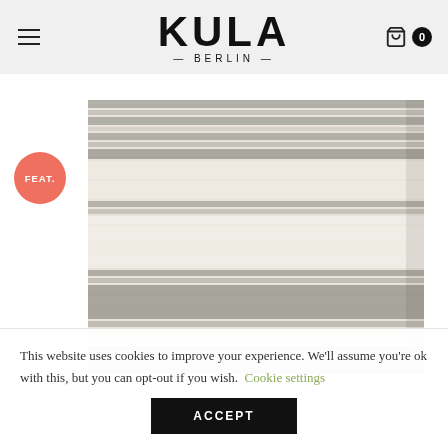KULA — BERLIN —
[Figure (photo): Folded striped textile/blanket with alternating grey and cream/white horizontal stripes, shown against white background. A salmon/coral circular badge labeled FEAT. is overlaid in the upper left area.]
This website uses cookies to improve your experience. We'll assume you're ok with this, but you can opt-out if you wish. Cookie settings
ACCEPT